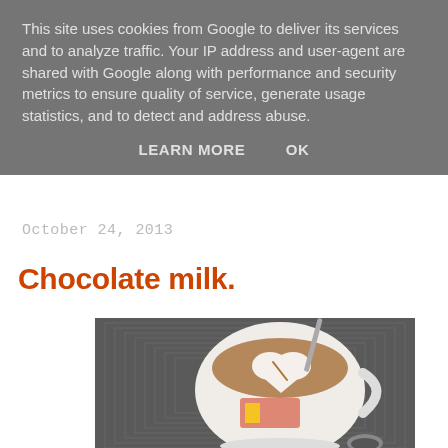This site uses cookies from Google to deliver its services and to analyze traffic. Your IP address and user-agent are shared with Google along with performance and security metrics to ensure quality of service, generate usage statistics, and to detect and address abuse.
LEARN MORE    OK
October 24, 2013
Chocolate milk.
[Figure (photo): Overhead view of a decorative mug filled with chocolate milk/hot cocoa topped with a heart-shaped marshmallow, with a spoon, placed on a dark textured surface.]